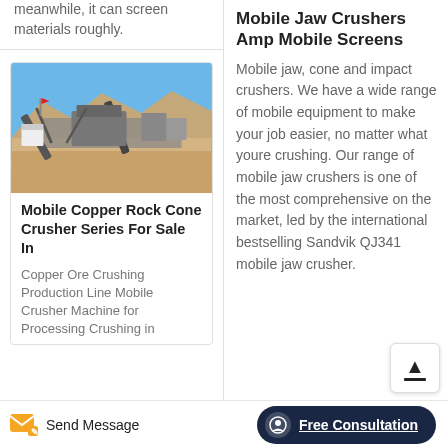meanwhile, it can screen materials roughly.
[Figure (photo): Outdoor mining/crushing plant with conveyor belts and industrial machinery against a clear blue sky, sandy terrain.]
Mobile Copper Rock Cone Crusher Series For Sale In
Copper Ore Crushing Production Line Mobile Crusher Machine for Processing Crushing in
Mobile Jaw Crushers Amp Mobile Screens
Mobile jaw, cone and impact crushers. We have a wide range of mobile equipment to make your job easier, no matter what youre crushing. Our range of mobile jaw crushers is one of the most comprehensive on the market, led by the international bestselling Sandvik QJ341 mobile jaw crusher.
Send Message
Free Consultation